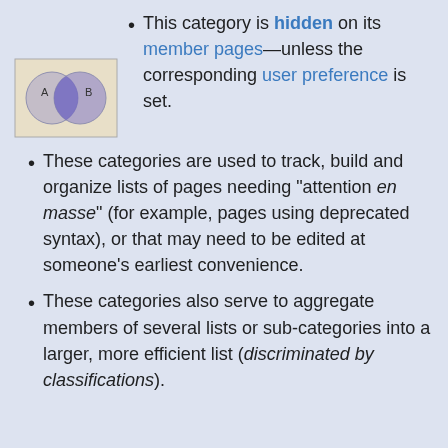[Figure (illustration): Venn diagram showing two overlapping circles labeled A and B, with the overlapping region filled in purple/blue on a tan/beige background, inside a rectangular border.]
This category is hidden on its member pages—unless the corresponding user preference is set.
These categories are used to track, build and organize lists of pages needing "attention en masse" (for example, pages using deprecated syntax), or that may need to be edited at someone's earliest convenience.
These categories also serve to aggregate members of several lists or sub-categories into a larger, more efficient list (discriminated by classifications).